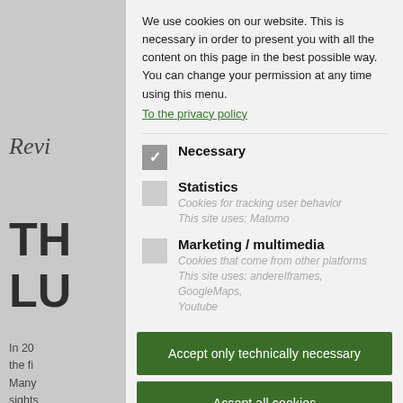Revi
TH
LU
In 20 the fi Many sights of the exhib Refor Eislek more year. for ex
We use cookies on our website. This is necessary in order to present you with all the content on this page in the best possible way. You can change your permission at any time using this menu.
To the privacy policy
Necessary
Statistics
Cookies for tracking user behavior
This site uses: Matomo
Marketing / multimedia
Cookies that come from other platforms
This site uses: andereIframes, GoogleMaps, Youtube
Accept only technically necessary
Accept all cookies